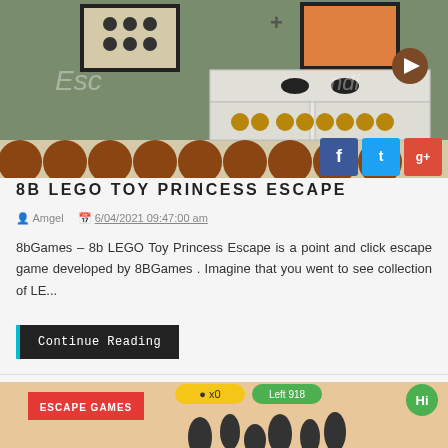[Figure (screenshot): Screenshot of 8b LEGO Toy Princess Escape game showing a room with a dresser, framed pictures on wall, circular objects on floor, and social sharing buttons (Facebook, Twitter, Google+) in bottom right corner]
8B LEGO TOY PRINCESS ESCAPE
Amgel   6/04/2021 09:47:00 am
8bGames – 8b LEGO Toy Princess Escape is a point and click escape game developed by 8BGames . Imagine that you went to see collection of LE...
Continue Reading
[Figure (screenshot): Partial screenshot of another escape game showing colorful HUD elements and flower/plant silhouettes against a peach/tan background, with 'ESCAPE GAMES' red label overlay]